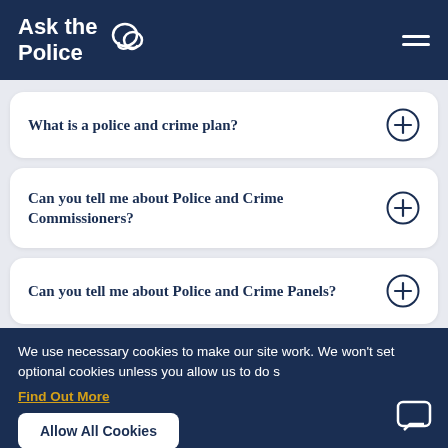Ask the Police
What is a police and crime plan?
Can you tell me about Police and Crime Commissioners?
Can you tell me about Police and Crime Panels?
We use necessary cookies to make our site work. We won't set optional cookies unless you allow us to do so.
Find Out More
Allow All Cookies